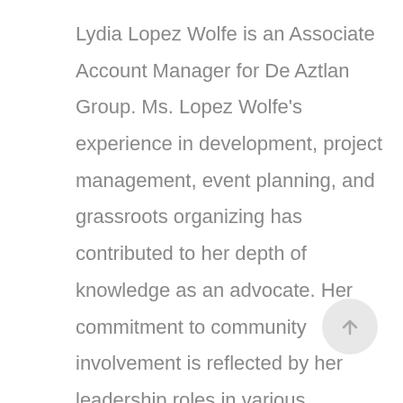Lydia Lopez Wolfe is an Associate Account Manager for De Aztlan Group. Ms. Lopez Wolfe's experience in development, project management, event planning, and grassroots organizing has contributed to her depth of knowledge as an advocate. Her commitment to community involvement is reflected by her leadership roles in various organizations and groups including the Learning Rights Law Center, the Center for Service and Action, the Associated Students of Loyola Marymount University, Sigma Lambda Gamma...